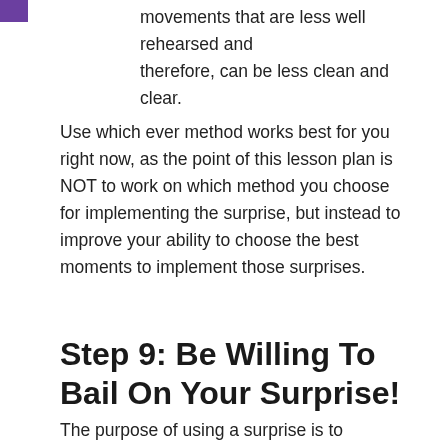movements that are less well rehearsed and therefore, can be less clean and clear.
Use which ever method works best for you right now, as the point of this lesson plan is NOT to work on which method you choose for implementing the surprise, but instead to improve your ability to choose the best moments to implement those surprises.
Step 9: Be Willing To Bail On Your Surprise!
The purpose of using a surprise is to increase the enjoyment of the dance…
…so if you realize that you are going bump into someone, or the move feels dangerous or out of control, or the music doesn't hit like you thought it was